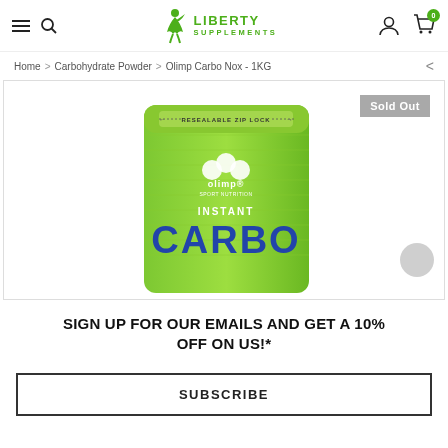Liberty Supplements — navigation header with hamburger, search, logo, user icon, cart (0)
Home > Carbohydrate Powder > Olimp Carbo Nox - 1KG
[Figure (photo): Product image of Olimp Instant Carbo Nox 1KG green resealable zip-lock bag with 'Sold Out' badge overlay and a circular navigation arrow on the right]
SIGN UP FOR OUR EMAILS AND GET A 10% OFF ON US!*
SUBSCRIBE